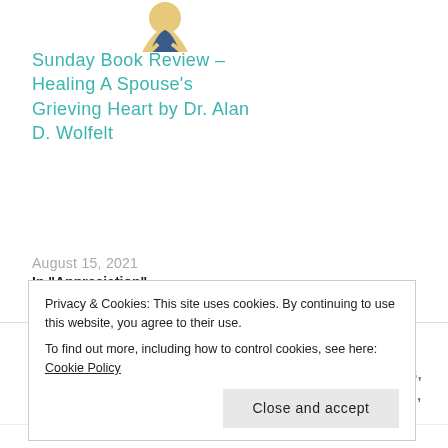[Figure (illustration): Illustration of a person sitting, partially visible at the top of the page.]
Sunday Book Review – Healing A Spouse's Grieving Heart by Dr. Alan D. Wolfelt
August 15, 2021
In "Appreciation"
CATEGORIES APPRECIATION, CYCLE OF LIFE, D.G.KAYE, GOODREADS, GREAT INFORMATION, GRIEF AND LOSS, INSPIRATIONAL READS, LIFE AND LOSS, NON FICTION, SUNDAY BOOK REVIEW
TAGS DR. ELIZABETH KUBLER-ROSS, GRIEF, LIFE AFTER
Privacy & Cookies: This site uses cookies. By continuing to use this website, you agree to their use.
To find out more, including how to control cookies, see here: Cookie Policy
#WATWR – An Autistic Man Posts Online for Work…